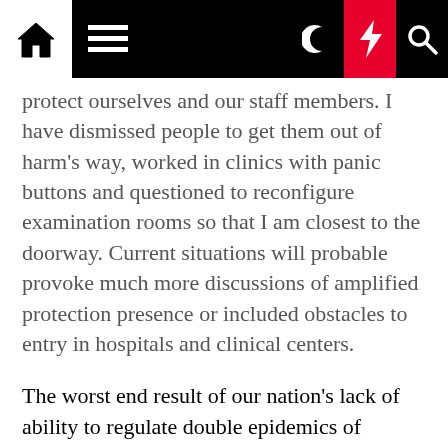[navigation bar with home, menu, dark mode, lightning, search icons]
protect ourselves and our staff members. I have dismissed people to get them out of harm's way, worked in clinics with panic buttons and questioned to reconfigure examination rooms so that I am closest to the doorway. Current situations will probable provoke much more discussions of amplified protection presence or included obstacles to entry in hospitals and clinical centers.
The worst end result of our nation's lack of ability to regulate double epidemics of opioids and guns is the finish breakdown of the romance amongst health care provider and affected person. Preventive steps to offer with violence these kinds of as protection and panic buttons can generate an fast assumption that the affected individual waiting around in their room or on the gurney is guilty until eventually proven otherwise. A flag in the electronic